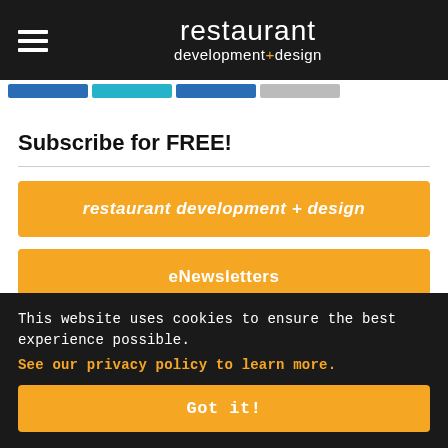restaurant development+design
Subscribe for FREE!
restaurant development + design
eNewsletters
Advertisement
This website uses cookies to ensure the best experience possible. See our privacy policy to learn more.
Got it!